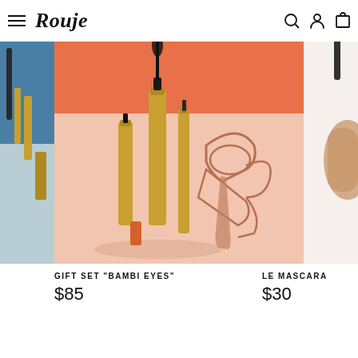Rouje
[Figure (photo): Partial view of cosmetics products (mascara and gold tubes) on a blue/teal background, left edge of page]
[Figure (photo): Center product photo: gold mascara tubes, eyeliner, and rose-gold eyelash curler arranged on a peach/salmon background with orange backdrop]
[Figure (photo): Partial right-side view of a mascara brush and product on white background]
GIFT SET "BAMBI EYES"
$85
LE MASCARA
$30